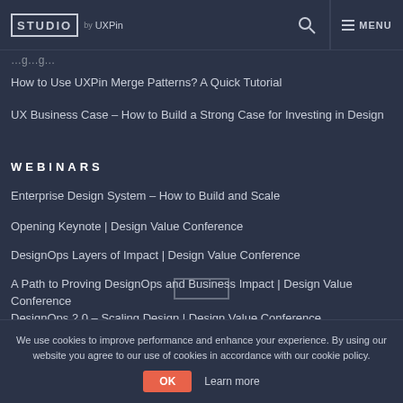STUDIO by UXPin
How to Use UXPin Merge Patterns? A Quick Tutorial
UX Business Case – How to Build a Strong Case for Investing in Design
WEBINARS
Enterprise Design System – How to Build and Scale
Opening Keynote | Design Value Conference
DesignOps Layers of Impact | Design Value Conference
A Path to Proving DesignOps and Business Impact | Design Value Conference
DesignOps 2.0 – Scaling Design | Design Value Conference
We use cookies to improve performance and enhance your experience. By using our website you agree to our use of cookies in accordance with our cookie policy.